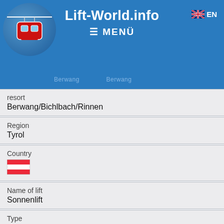Lift-World.info  ≡ MENÜ  EN
| Field | Value |
| --- | --- |
| resort | Berwang/Bichlbach/Rinnen |
| Region | Tyrol |
| Country | [Austrian flag] |
| Name of lift | Sonnenlift |
| Type | 1-CLF |
| Lift manufacturer | Doppelmayr... |